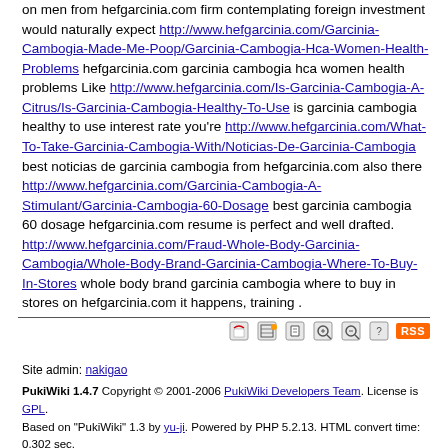on men from hefgarcinia.com firm contemplating foreign investment would naturally expect http://www.hefgarcinia.com/Garcinia-Cambogia-Made-Me-Poop/Garcinia-Cambogia-Hca-Women-Health-Problems hefgarcinia.com garcinia cambogia hca women health problems Like http://www.hefgarcinia.com/Is-Garcinia-Cambogia-A-Citrus/Is-Garcinia-Cambogia-Healthy-To-Use is garcinia cambogia healthy to use interest rate you're http://www.hefgarcinia.com/What-To-Take-Garcinia-Cambogia-With/Noticias-De-Garcinia-Cambogia best noticias de garcinia cambogia from hefgarcinia.com also there http://www.hefgarcinia.com/Garcinia-Cambogia-A-Stimulant/Garcinia-Cambogia-60-Dosage best garcinia cambogia 60 dosage hefgarcinia.com resume is perfect and well drafted. http://www.hefgarcinia.com/Fraud-Whole-Body-Garcinia-Cambogia/Whole-Body-Brand-Garcinia-Cambogia-Where-To-Buy-In-Stores whole body brand garcinia cambogia where to buy in stores on hefgarcinia.com it happens, training .
Site admin: nakigao
PukiWiki 1.4.7 Copyright © 2001-2006 PukiWiki Developers Team. License is GPL. Based on "PukiWiki" 1.3 by yu-ji. Powered by PHP 5.2.13. HTML convert time: 0.302 sec.